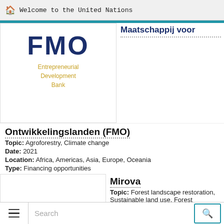Welcome to the United Nations
[Figure (logo): FMO Entrepreneurial Development Bank logo — FMO in large dark navy letters, subtitle in gold/yellow text]
Maatschappij voor
Ontwikkelingslanden (FMO)
Topic: Agroforestry, Climate change
Date: 2021
Location: Africa, Americas, Asia, Europe, Oceania
Type: Financing opportunities
Mirova
Topic: Forest landscape restoration, Sustainable land use, Forest conservation and
[Figure (illustration): Small asterisk/star decorative icons in purple and dark colors]
Search